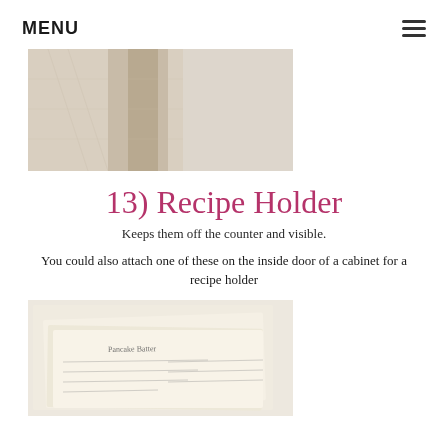MENU
[Figure (photo): Close-up photo of a fabric or textile material, beige/cream colored, folded or draped]
13) Recipe Holder
Keeps them off the counter and visible.
You could also attach one of these on the inside door of a cabinet for a recipe holder
[Figure (photo): Photo of handwritten recipe cards or notes on aged/yellowed paper]